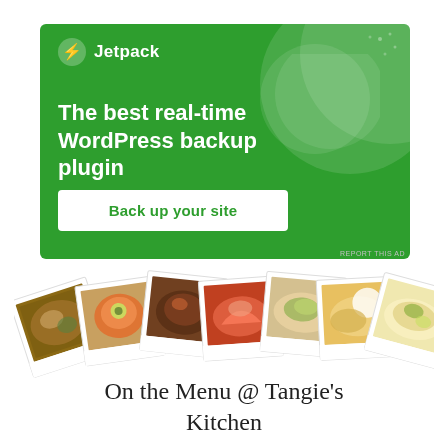[Figure (infographic): Jetpack advertisement banner with green background, Jetpack logo with lightning bolt icon, headline text 'The best real-time WordPress backup plugin', and a white CTA button 'Back up your site']
[Figure (photo): A horizontal strip of seven polaroid-style food photos arranged in a fan/arc pattern showing various dishes]
On the Menu @ Tangie's Kitchen